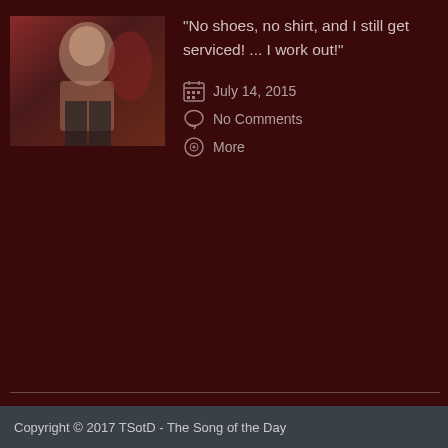[Figure (photo): A shirtless man performing or posing with an open mouth, in a music video style setting with red tones in the background.]
"No shoes, no shirt, and I still get serviced! ... I work out!"
July 14, 2015
No Comments
More
1
2
NEXT →
Copyright © 2017 TSotD - The Song of the Day